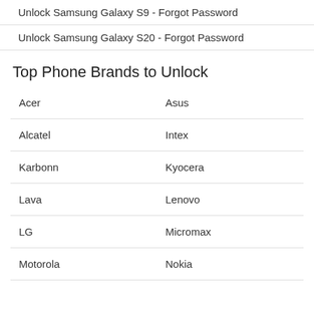Unlock Samsung Galaxy S9 - Forgot Password
Unlock Samsung Galaxy S20 - Forgot Password
Top Phone Brands to Unlock
|  |  |
| --- | --- |
| Acer | Asus |
| Alcatel | Intex |
| Karbonn | Kyocera |
| Lava | Lenovo |
| LG | Micromax |
| Motorola | Nokia |